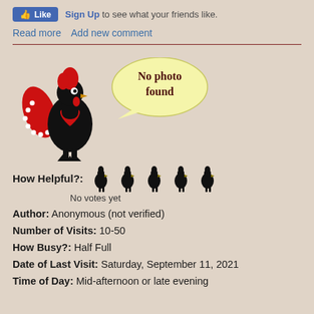Like  Sign Up to see what your friends like.
Read more   Add new comment
[Figure (illustration): A rooster/cockerel logo (black with red crest and heart, white dots on wing) with a yellow speech bubble saying 'No photo found']
How Helpful?:  [5 rooster rating icons]  No votes yet
Author: Anonymous (not verified)
Number of Visits: 10-50
How Busy?: Half Full
Date of Last Visit: Saturday, September 11, 2021
Time of Day: Mid-afternoon or late evening